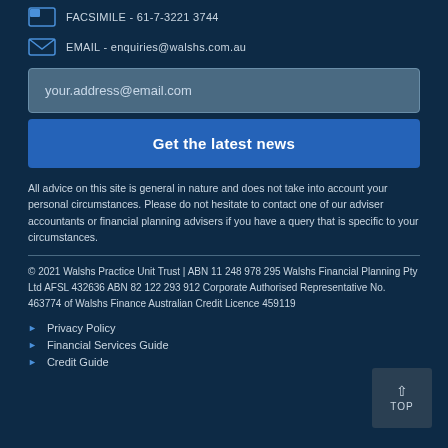FACSIMILE - 61-7-3221 3744
EMAIL - enquiries@walshs.com.au
your.address@email.com
Get the latest news
All advice on this site is general in nature and does not take into account your personal circumstances. Please do not hesitate to contact one of our adviser accountants or financial planning advisers if you have a query that is specific to your circumstances.
© 2021 Walshs Practice Unit Trust | ABN 11 248 978 295 Walshs Financial Planning Pty Ltd AFSL 432636 ABN 82 122 293 912 Corporate Authorised Representative No. 463774 of Walshs Finance Australian Credit Licence 459119
Privacy Policy
Financial Services Guide
Credit Guide